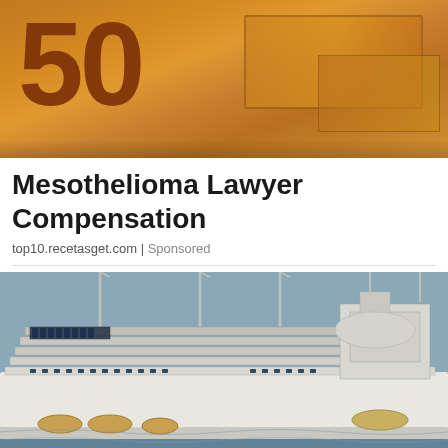[Figure (photo): Close-up photo of euro banknotes showing the number 50, orange/brown tones]
Mesothelioma Lawyer Compensation
top10.recetasget.com | Sponsored
[Figure (photo): 3D render of a large luxury cruise ship on water, white vessel with multiple decks and masts]
We and our partners use cookies on this site to improve our service, perform analytics, personalize advertising, measure advertising performance, and remember website preferences.
Ok